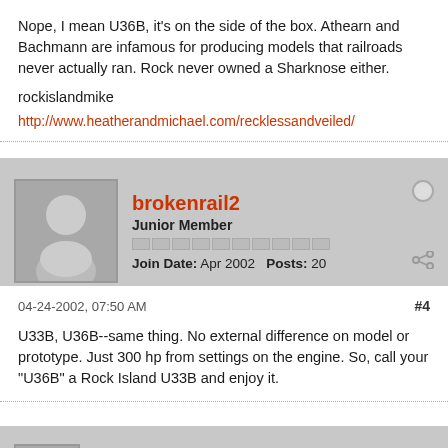Nope, I mean U36B, it's on the side of the box. Athearn and Bachmann are infamous for producing models that railroads never actually ran. Rock never owned a Sharknose either.
rockislandmike
http://www.heatherandmichael.com/recklessandveiled/
brokenrail2
Junior Member
Join Date: Apr 2002   Posts: 20
04-24-2002, 07:50 AM
#4
U33B, U36B--same thing. No external difference on model or prototype. Just 300 hp from settings on the engine. So, call your "U36B" a Rock Island U33B and enjoy it.
rockislandmike